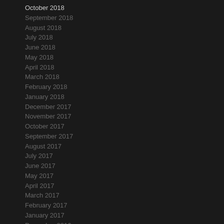October 2018
September 2018
August 2018
July 2018
June 2018
May 2018
April 2018
March 2018
February 2018
January 2018
December 2017
November 2017
October 2017
September 2017
August 2017
July 2017
June 2017
May 2017
April 2017
March 2017
February 2017
January 2017
December 2016
November 2016
October 2016